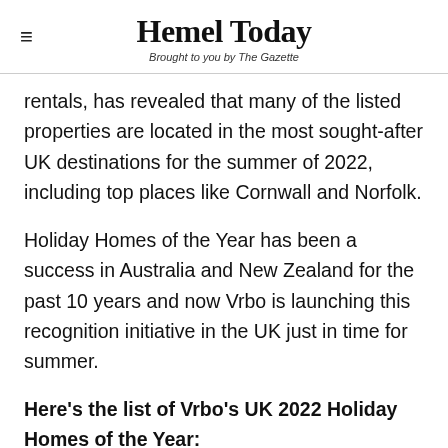Hemel Today — Brought to you by The Gazette
rentals, has revealed that many of the listed properties are located in the most sought-after UK destinations for the summer of 2022, including top places like Cornwall and Norfolk.
Holiday Homes of the Year has been a success in Australia and New Zealand for the past 10 years and now Vrbo is launching this recognition initiative in the UK just in time for summer.
Here's the list of Vrbo's UK 2022 Holiday Homes of the Year: